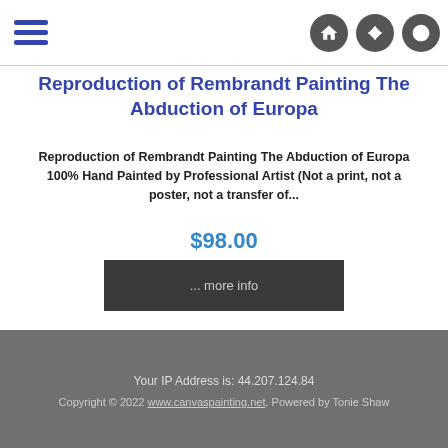Navigation bar with hamburger menu and icons
Reproduction of Rembrandt Painting The Abduction of Europa
Reproduction of Rembrandt Painting The Abduction of Europa 100% Hand Painted by Professional Artist (Not a print, not a poster, not a transfer of...
$98.00
... more info
Displaying 1 to 6 (of 6 Products)
Your IP Address is: 44.207.124.84 Copyright © 2022 www.canvaspainting.net. Powered by Tonie Shaw